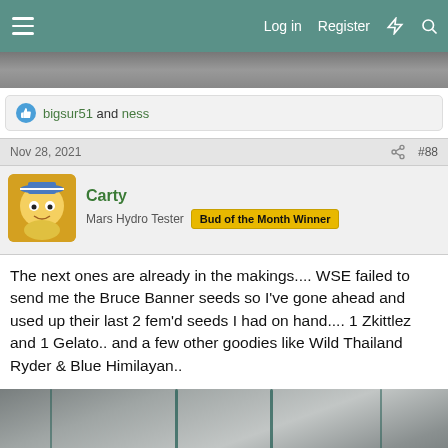Log in  Register
[Figure (photo): Cropped photo at top of page, partially visible]
bigsur51 and ness
Nov 28, 2021  #88
Carty
Mars Hydro Tester  Bud of the Month Winner
The next ones are already in the makings.... WSE failed to send me the Bruce Banner seeds so I've gone ahead and used up their last 2 fem'd seeds I had on hand.... 1 Zkittlez and 1 Gelato.. and a few other goodies like Wild Thailand Ryder & Blue Himilayan..
[Figure (photo): Bottom photo partially visible, appears to show a grow tent interior]